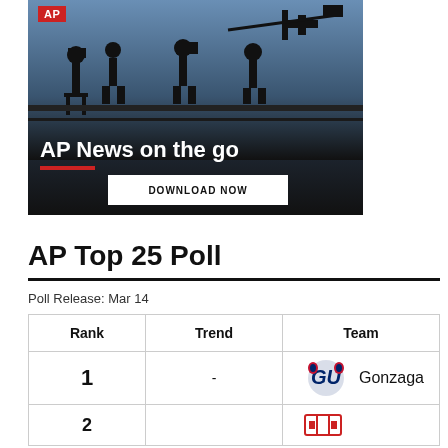[Figure (photo): AP News on the go advertisement banner with silhouettes of camera operators against a twilight sky. Features AP logo in red, the headline 'AP News on the go', a red underline accent, and a white 'DOWNLOAD NOW' button.]
AP Top 25 Poll
Poll Release: Mar 14
| Rank | Trend | Team |
| --- | --- | --- |
| 1 | - | Gonzaga |
| 2 |  |  |